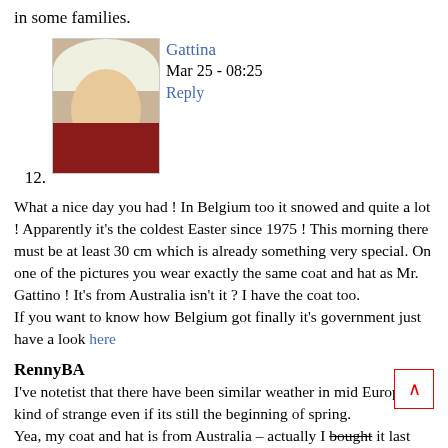in some families.
[Figure (photo): Avatar photo of a woman with white/blonde hair wearing a red top, smiling at the camera.]
12. Gattina
Mar 25 - 08:25
Reply
What a nice day you had ! In Belgium too it snowed and quite a lot ! Apparently it's the coldest Easter since 1975 ! This morning there must be at least 30 cm which is already something very special. On one of the pictures you wear exactly the same coat and hat as Mr. Gattino ! It's from Australia isn't it ? I have the coat too.
If you want to know how Belgium got finally it's government just have a look here
RennyBA
I've notetist that there have been similar weather in mid Europe – kind of strange even if its still the beginning of spring.
Yea, my coat and hat is from Australia – actually I bought it last time I was in US to visit Diane's family.